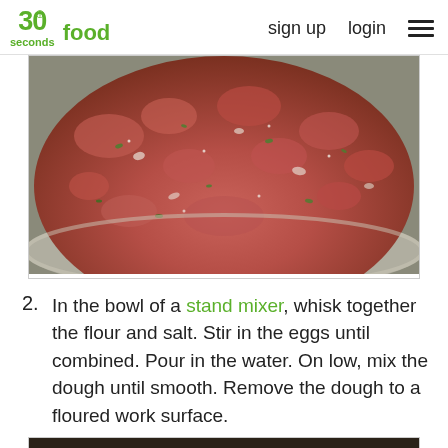30 seconds food — sign up  login
[Figure (photo): Close-up photo of ground/minced meat mixed with herbs and spices in a bowl]
2. In the bowl of a stand mixer, whisk together the flour and salt. Stir in the eggs until combined. Pour in the water. On low, mix the dough until smooth. Remove the dough to a floured work surface.
[Figure (photo): Partial bottom photo showing hands working with dough on a surface]